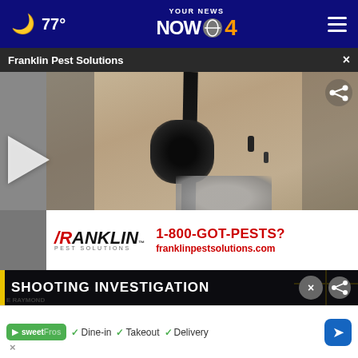77° YOUR NEWS NOW CBS 4
Franklin Pest Solutions ×
[Figure (photo): Close-up photo of cracked and damaged wall/surface with dark debris and grey patches, overlaid with Franklin Pest Solutions advertisement banner reading '1-800-GOT-PESTS? franklinpestsolutions.com']
SHOOTING INVESTIGATION
[Figure (screenshot): Sweet Frog restaurant ad with checkmarks: Dine-in, Takeout, Delivery and a navigation arrow button]